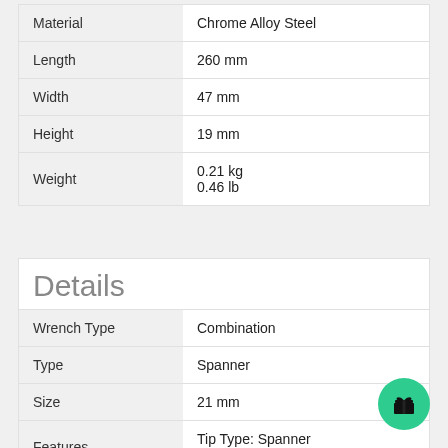| Property | Value |
| --- | --- |
| Material | Chrome Alloy Steel |
| Length | 260 mm |
| Width | 47 mm |
| Height | 19 mm |
| Weight | 0.21 kg
0.46 lb |
Details
| Property | Value |
| --- | --- |
| Wrench Type | Combination |
| Type | Spanner |
| Size | 21 mm |
| Features | Tip Type: Spanner
Material: Chrome Alloy Steel |